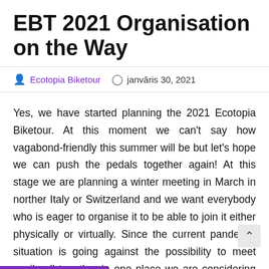EBT 2021 Organisation on the Way
Ecotopia Biketour   janvāris 30, 2021
Yes, we have started planning the 2021 Ecotopia Biketour. At this moment we can't say how vagabond-friendly this summer will be but let's hope we can push the pedals together again! At this stage we are planning a winter meeting in March in norther Italy or Switzerland and we want everybody who is eager to organise it to be able to join it either physically or virtually. Since the current pandemic situation is going against the possibility to meet easily all together in one place we are considering also a hybrid kind of a meeting where people could meet locally…